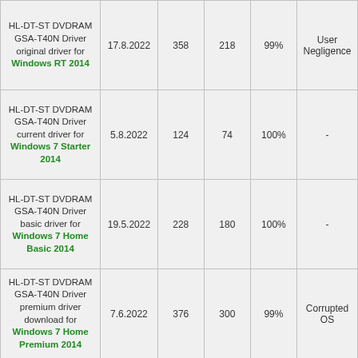| HL-DT-ST DVDRAM GSA-T40N Driver original driver for Windows RT 2014 | 17.8.2022 | 358 | 218 | 99% | User Negligence |
| HL-DT-ST DVDRAM GSA-T40N Driver current driver for Windows 7 Starter 2014 | 5.8.2022 | 124 | 74 | 100% | - |
| HL-DT-ST DVDRAM GSA-T40N Driver basic driver for Windows 7 Home Basic 2014 | 19.5.2022 | 228 | 180 | 100% | - |
| HL-DT-ST DVDRAM GSA-T40N Driver premium driver download for Windows 7 Home Premium 2014 | 7.6.2022 | 376 | 300 | 99% | Corrupted OS |